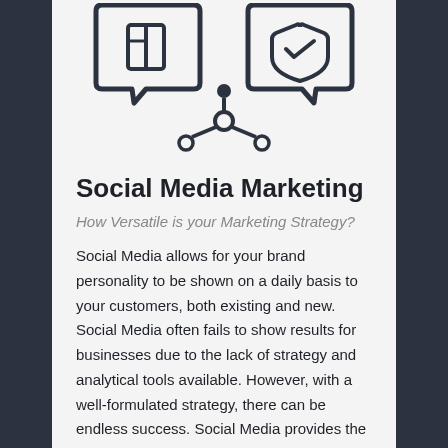[Figure (illustration): Line art illustration showing two speech bubbles containing icons (a book/card and a heart/shield with checkmark), and a social media network/share icon with circular nodes and connecting lines between them, all drawn in dark charcoal on a light background.]
Social Media Marketing
How Versatile is your Marketing Strategy?
Social Media allows for your brand personality to be shown on a daily basis to your customers, both existing and new. Social Media often fails to show results for businesses due to the lack of strategy and analytical tools available. However, with a well-formulated strategy, there can be endless success. Social Media provides the ability to engage with your customers on a broad...